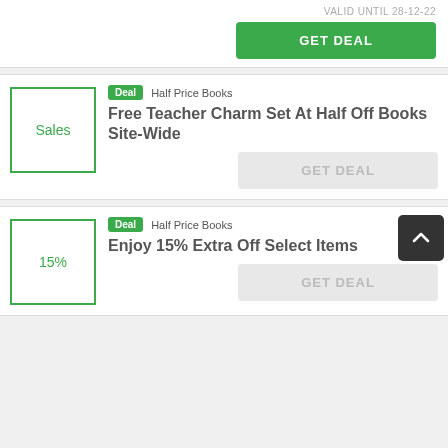VALID UNTIL 28-12-22
GET DEAL
[Figure (other): Deal card with 'Sales' thumbnail box, Deal badge, Half Price Books store name, title: Free Teacher Charm Set At Half Off Books Site-Wide, GET DEAL button (gray)]
[Figure (other): Deal card with '15%' thumbnail box, Deal badge, Half Price Books store name, title: Enjoy 15% Extra Off Select Items, GET DEAL button (gray), scroll-to-top button overlay]